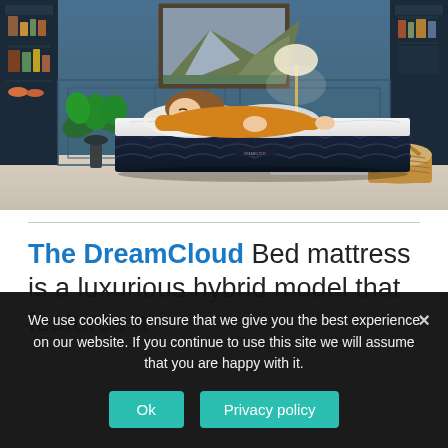[Figure (photo): Woman in orange sweater lying on a DreamCloud mattress in a stylishly decorated blue room with bookshelves, a plant, and a nightstand with lamp.]
The DreamCloud Bed mattress is a luxurious hybrid model that features a
We use cookies to ensure that we give you the best experience on our website. If you continue to use this site we will assume that you are happy with it.